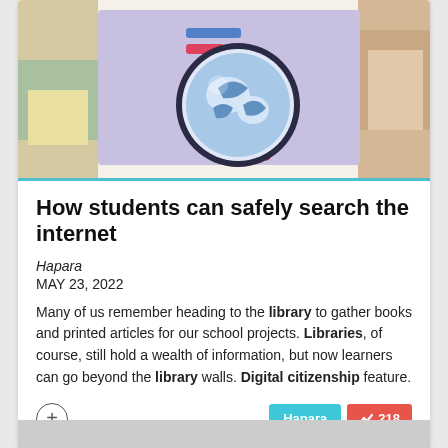[Figure (illustration): Illustration of a magnifying glass over a globe/internet search metaphor, with a purple/lavender background and colorful side elements]
How students can safely search the internet
Hapara
MAY 23, 2022
Many of us remember heading to the library to gather books and printed articles for our school projects. Libraries, of course, still hold a wealth of information, but now learners can go beyond the library walls. Digital citizenship feature.